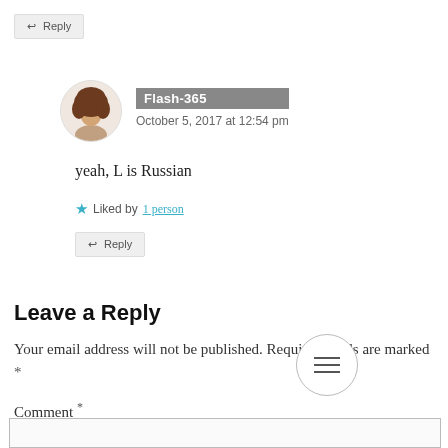↩ Reply
Flash-365
October 5, 2017 at 12:54 pm
yeah, L is Russian
★ Liked by 1 person
↩ Reply
Leave a Reply
Your email address will not be published. Required fields are marked *
Comment *